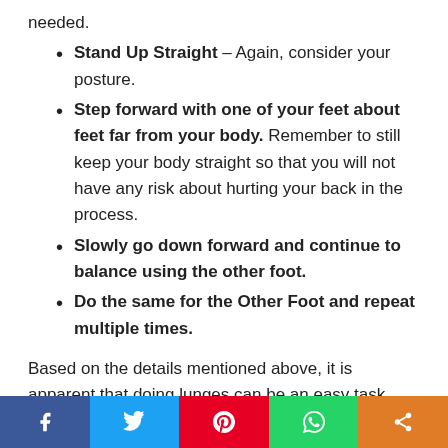needed.
Stand Up Straight – Again, consider your posture.
Step forward with one of your feet about feet far from your body. Remember to still keep your body straight so that you will not have any risk about hurting your back in the process.
Slowly go down forward and continue to balance using the other foot.
Do the same for the Other Foot and repeat multiple times.
Based on the details mentioned above, it is apparent that doing lunges can be an easy task provided that people will continue to keep their good posture